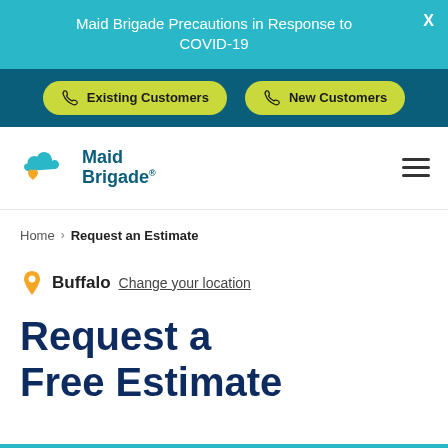Maid Brigade Precautions in Response to COVID-19
[Figure (screenshot): Navigation bar with two yellow-green pill buttons: 'Existing Customers' and 'New Customers' with phone icons, on dark teal background]
[Figure (logo): Maid Brigade logo with teal cloud and orange heart icon]
Home > Request an Estimate
Buffalo  Change your location
Request a Free Estimate